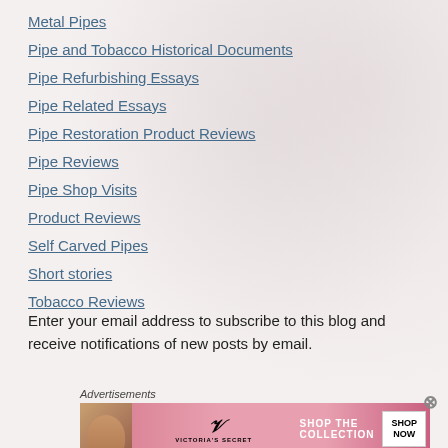Metal Pipes
Pipe and Tobacco Historical Documents
Pipe Refurbishing Essays
Pipe Related Essays
Pipe Restoration Product Reviews
Pipe Reviews
Pipe Shop Visits
Product Reviews
Self Carved Pipes
Short stories
Tobacco Reviews
Enter your email address to subscribe to this blog and receive notifications of new posts by email.
Advertisements
[Figure (advertisement): Victoria's Secret advertisement banner with model, VS logo, 'SHOP THE COLLECTION' text and 'SHOP NOW' button]